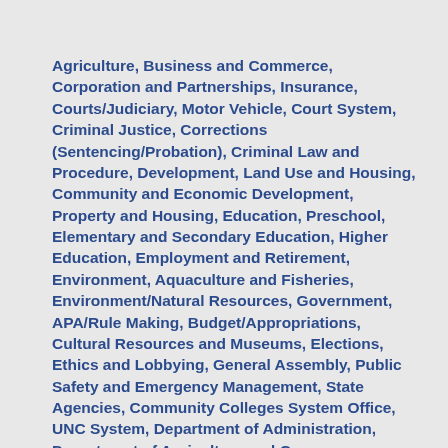Agriculture, Business and Commerce, Corporation and Partnerships, Insurance, Courts/Judiciary, Motor Vehicle, Court System, Criminal Justice, Corrections (Sentencing/Probation), Criminal Law and Procedure, Development, Land Use and Housing, Community and Economic Development, Property and Housing, Education, Preschool, Elementary and Secondary Education, Higher Education, Employment and Retirement, Environment, Aquaculture and Fisheries, Environment/Natural Resources, Government, APA/Rule Making, Budget/Appropriations, Cultural Resources and Museums, Elections, Ethics and Lobbying, General Assembly, Public Safety and Emergency Management, State Agencies, Community Colleges System Office, UNC System, Department of Administration, Department of Agriculture and Consumer Services, Department of Commerce, Department of Natural and Cultural Resources (formerly Dept. of Cultural Resources), Department of Environmental Quality (formerly DENR), Department of Health and Human Services, Department of Information Technology, Department of Justice, Department of Labor, Department of Public Instruction, Department of Public Safety, Department of State Treasurer, Department of Transportation, Office of State Auditor, Office of State Budget and Management, Office of State Controller, State Board of Education, State Board of Elections, State Government, Executive, State Personnel, State Property, Tax, Local Government,